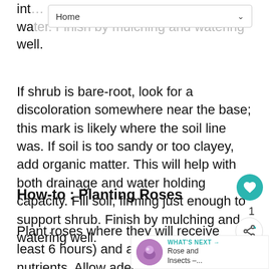Home
into water. Finish by mulching and watering well.
If shrub is bare-root, look for a discoloration somewhere near the base; this mark is likely where the soil line was. If soil is too sandy or too clayey, add organic matter. This will help with both drainage and water holding capacity. Fill soil, firming just enough to support shrub. Finish by mulching and watering well.
How-to : Planting Roses
Plant roses where they will receive at least 6 hours) and ample moisture and nutrients. Allow adequate spacing (3 to 6 feet